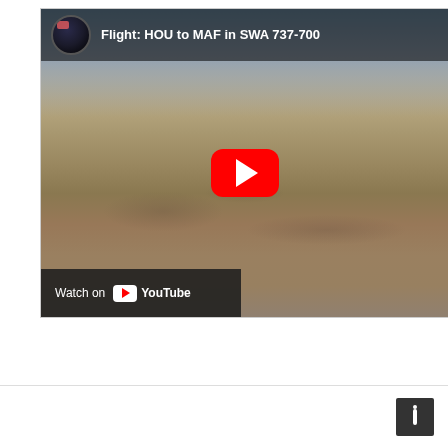[Figure (screenshot): YouTube video thumbnail showing aerial view of Midland, TX with title 'Flight: HOU to MAF in SWA 737-700'. Red YouTube play button in center. 'Watch on YouTube' bar at bottom left. Channel avatar in top left corner.]